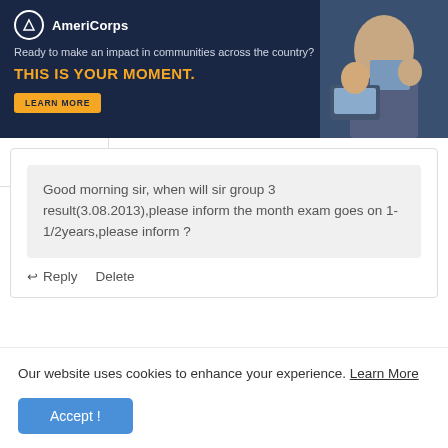[Figure (screenshot): AmeriCorps advertisement banner with dark navy background. Logo and text: 'AmeriCorps', 'Ready to make an impact in communities across the country?', 'THIS IS YOUR MOMENT.' in orange, 'LEARN MORE' button, and photo of people working at computers on right side.]
Good morning sir, when will sir group 3 result(3.08.2013),please inform the month exam goes on 1-1/2years,please inform ?
Reply   Delete
Anonymous
27 January 2015 at 20:14
Our website uses cookies to enhance your experience. Learn More
Accept !